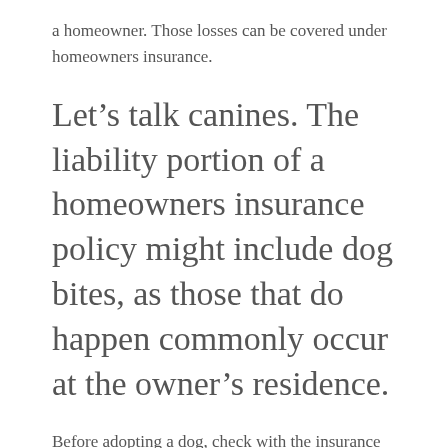a homeowner. Those losses can be covered under homeowners insurance.
Let’s talk canines. The liability portion of a homeowners insurance policy might include dog bites, as those that do happen commonly occur at the owner’s residence.
Before adopting a dog, check with the insurance carrier to see if they will deny coverage because of the breed. Many